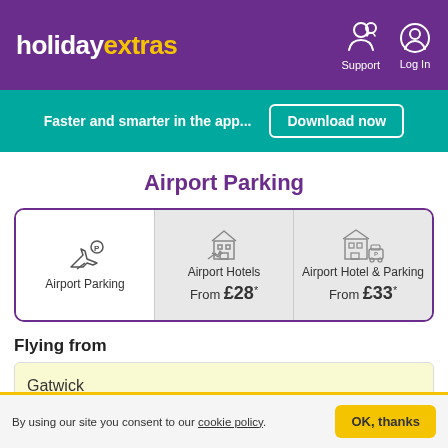holidayextras — Support | Log In
Faster and smarter in the app... Download now
Airport Parking
[Figure (screenshot): Three tabs: Airport Parking (active/selected, white background), Airport Hotels (From £28*), Airport Hotel & Parking (From £33*). Each tab has a small icon.]
Flying from
Gatwick
By using our site you consent to our cookie policy. OK, thanks